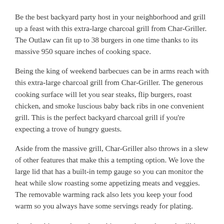Be the best backyard party host in your neighborhood and grill up a feast with this extra-large charcoal grill from Char-Griller. The Outlaw can fit up to 38 burgers in one time thanks to its massive 950 square inches of cooking space.
Being the king of weekend barbecues can be in arms reach with this extra-large charcoal grill from Char-Griller. The generous cooking surface will let you sear steaks, flip burgers, roast chicken, and smoke luscious baby back ribs in one convenient grill. This is the perfect backyard charcoal grill if you're expecting a trove of hungry guests.
Aside from the massive grill, Char-Griller also throws in a slew of other features that make this a tempting option. We love the large lid that has a built-in temp gauge so you can monitor the heat while slow roasting some appetizing meats and veggies. The removable warming rack also lets you keep your food warm so you always have some servings ready for plating.
Another thing we love about this extra-large charcoal grill is the shelves. The front shelf can conveniently fit cooking utensils, condiments, and beverages while the side shelf can serve as a mini carving station—perfect for trimming steaks and cutting up portions for your hungry patrons.
Other features that we like about this pick from Char-Griller include the adjustable dampers, stay-cool wooden handles, built-in hooks, bottom storage